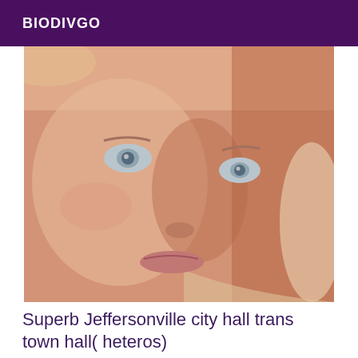BIODIVGO
[Figure (photo): Close-up portrait photo of a person with blue eyes and light reddish-blonde hair, face filling most of the frame]
Superb Jeffersonville city hall trans town hall( heteros)